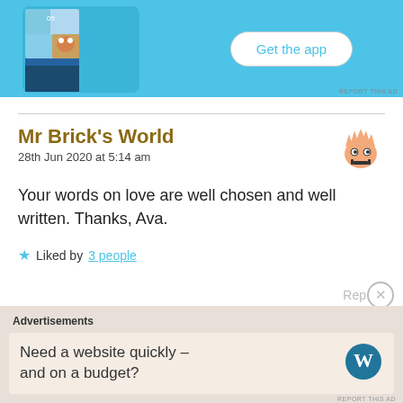[Figure (screenshot): Mobile app advertisement banner with blue background, phone mockup on left, and 'Get the app' button on right]
Mr Brick's World
28th Jun 2020 at 5:14 am
[Figure (illustration): Cartoon avatar of a character with spiky hair and big eyes]
Your words on love are well chosen and well written. Thanks, Ava.
★ Liked by 3 people
Rep
Advertisements
Need a website quickly – and on a budget?
[Figure (logo): WordPress logo – W in a circle]